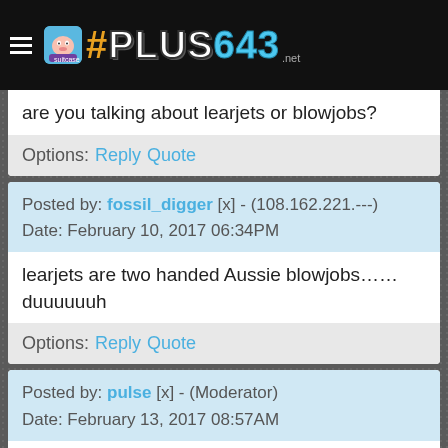#PLUS643 .net
are you talking about learjets or blowjobs?
Options: Reply Quote
Posted by: fossil_digger [x] - (108.162.221.---)
Date: February 10, 2017 06:34PM
learjets are two handed Aussie blowjobs......duuuuuuh
Options: Reply Quote
Posted by: pulse [x] - (Moderator)
Date: February 13, 2017 08:57AM
badger badger badger badger badger mushroom